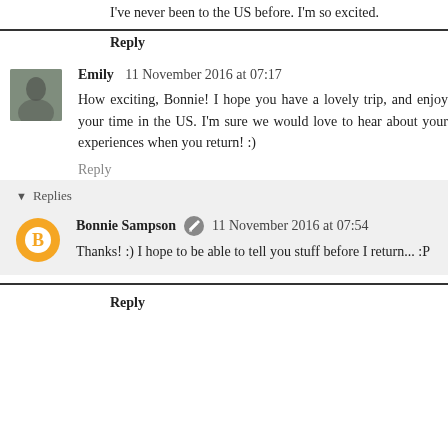I've never been to the US before. I'm so excited.
Reply
Emily  11 November 2016 at 07:17
How exciting, Bonnie! I hope you have a lovely trip, and enjoy your time in the US. I'm sure we would love to hear about your experiences when you return! :)
Reply
Replies
Bonnie Sampson  11 November 2016 at 07:54
Thanks! :) I hope to be able to tell you stuff before I return... :P
Reply